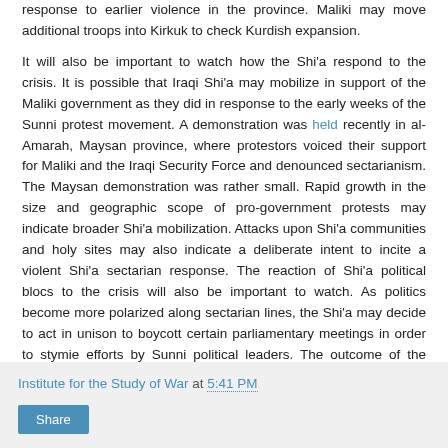response to earlier violence in the province. Maliki may move additional troops into Kirkuk to check Kurdish expansion.
It will also be important to watch how the Shi’a respond to the crisis. It is possible that Iraqi Shi’a may mobilize in support of the Maliki government as they did in response to the early weeks of the Sunni protest movement. A demonstration was held recently in al-Amarah, Maysan province, where protestors voiced their support for Maliki and the Iraqi Security Force and denounced sectarianism. The Maysan demonstration was rather small. Rapid growth in the size and geographic scope of pro-government protests may indicate broader Shi’a mobilization. Attacks upon Shi’a communities and holy sites may also indicate a deliberate intent to incite a violent Shi’a sectarian response. The reaction of Shi’a political blocs to the crisis will also be important to watch. As politics become more polarized along sectarian lines, the Shi’a may decide to act in unison to boycott certain parliamentary meetings in order to stymie efforts by Sunni political leaders. The outcome of the current crisis is very much in doubt, but the events of the next week may offer important indicators on whether and how Iraq’s security and politics will continue to unravel.
Marisa Sullivan is a Fellow at the Institute for the Study of War.
Institute for the Study of War at 5:41 PM
Share